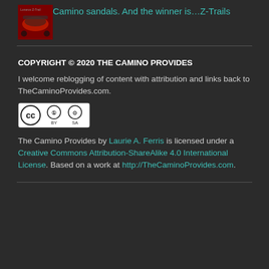[Figure (photo): Thumbnail image of sandals - red/dark tones, small blog preview image]
Camino sandals. And the winner is…Z-Trails
COPYRIGHT © 2020 THE CAMINO PROVIDES
I welcome reblogging of content with attribution and links back to TheCaminoProvides.com.
[Figure (logo): Creative Commons BY-SA license badge]
The Camino Provides by Laurie A. Ferris is licensed under a Creative Commons Attribution-ShareAlike 4.0 International License. Based on a work at http://TheCaminoProvides.com.